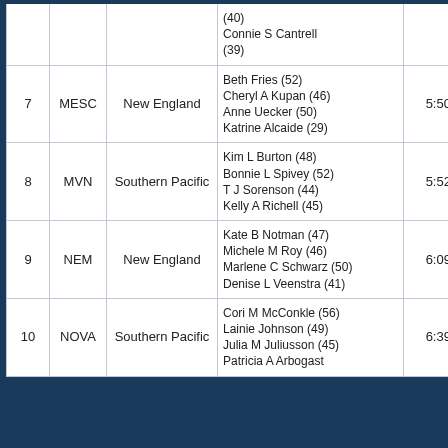| # | Club | LSC | Swimmers | Time |
| --- | --- | --- | --- | --- |
|  |  |  | (40)
Connie S Cantrell
(39) |  |
| 7 | MESC | New England | Beth Fries (52)
Cheryl A Kupan (46)
Anne Uecker (50)
Katrine Alcaide (29) | 5:50.29 |
| 8 | MVN | Southern Pacific | Kim L Burton (48)
Bonnie L Spivey (52)
T J Sorenson (44)
Kelly A Richell (45) | 5:52.63 |
| 9 | NEM | New England | Kate B Notman (47)
Michele M Roy (46)
Marlene C Schwarz (50)
Denise L Veenstra (41) | 6:09.77 |
| 10 | NOVA | Southern Pacific | Cori M McConkle (56)
Lainie Johnson (49)
Julia M Juliusson (45)
Patricia A Arbogast | 6:39.90 |